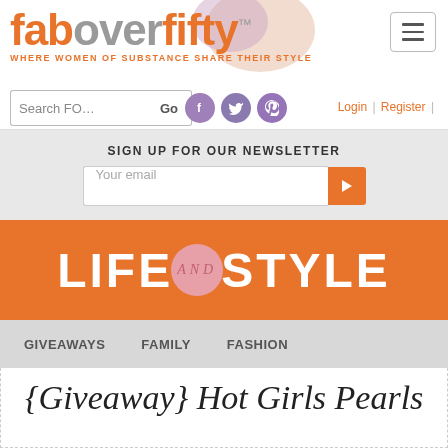[Figure (logo): faboverfifty logo with tagline WHERE WOMEN OF SUBSTANCE SHARE THEIR STYLE]
Search FO  Go
[Figure (infographic): Social media icons: Facebook, Twitter, Pinterest (purple circles)]
Login | Register |
SIGN UP FOR OUR NEWSLETTER
Your email
[Figure (illustration): LIFE and STYLE banner in orange with pink 'and' circle badge]
GIVEAWAYS   FAMILY   FASHION
{Giveaway} Hot Girls Pearls